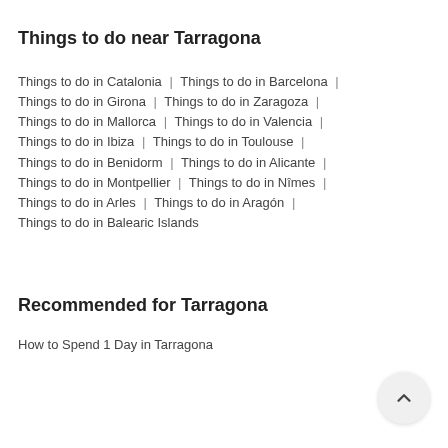Things to do near Tarragona
Things to do in Catalonia | Things to do in Barcelona | Things to do in Girona | Things to do in Zaragoza | Things to do in Mallorca | Things to do in Valencia | Things to do in Ibiza | Things to do in Toulouse | Things to do in Benidorm | Things to do in Alicante | Things to do in Montpellier | Things to do in Nîmes | Things to do in Arles | Things to do in Aragón | Things to do in Balearic Islands
Recommended for Tarragona
How to Spend 1 Day in Tarragona